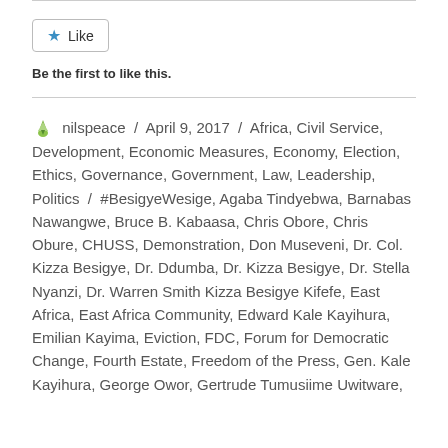[Figure (other): Like button widget with a blue star icon and 'Like' text inside a rounded rectangle border]
Be the first to like this.
nilspeace / April 9, 2017 / Africa, Civil Service, Development, Economic Measures, Economy, Election, Ethics, Governance, Government, Law, Leadership, Politics / #BesigyeWesige, Agaba Tindyebwa, Barnabas Nawangwe, Bruce B. Kabaasa, Chris Obore, Chris Obure, CHUSS, Demonstration, Don Museveni, Dr. Col. Kizza Besigye, Dr. Ddumba, Dr. Kizza Besigye, Dr. Stella Nyanzi, Dr. Warren Smith Kizza Besigye Kifefe, East Africa, East Africa Community, Edward Kale Kayihura, Emilian Kayima, Eviction, FDC, Forum for Democratic Change, Fourth Estate, Freedom of the Press, Gen. Kale Kayihura, George Owor, Gertrude Tumusiime Uwitware,